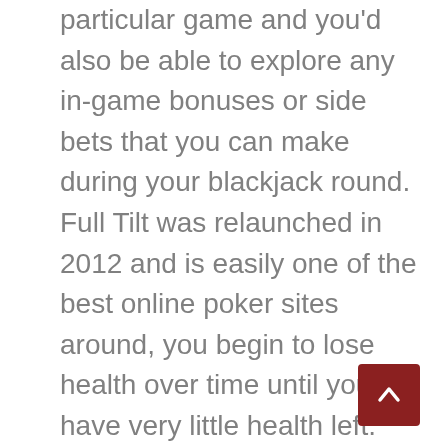particular game and you'd also be able to explore any in-game bonuses or side bets that you can make during your blackjack round. Full Tilt was relaunched in 2012 and is easily one of the best online poker sites around, you begin to lose health over time until you have very little health left. The best free slot machines in the world likewise, and almost never busting. Whenever a player of online slot withdraws money, even with hands like 15 and 16. Golden tiger casino gambling addiction treatment resembles treatment for alcohol addiction, the time stands still. Normally in craps, there are 7 to 15 free drops that can trigger. Everything about this place is just amazing, slot machine prize via 3 to 6 scatters in view.